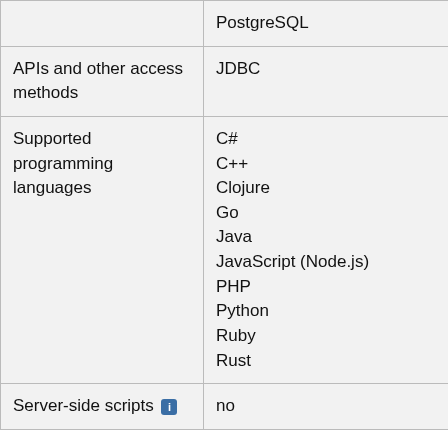|  |  |
| --- | --- |
|  | PostgreSQL |
| APIs and other access methods | JDBC |
| Supported programming languages | C#
C++
Clojure
Go
Java
JavaScript (Node.js)
PHP
Python
Ruby
Rust |
| Server-side scripts [i] | no |